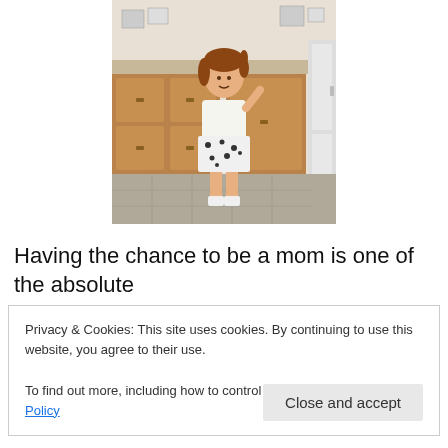[Figure (photo): A young girl with pigtails standing in a kitchen in front of wooden cabinets, wearing a white top and black and white spotted skirt with white boots/shoes.]
Having the chance to be a mom is one of the absolute greatest joys of my life.
Privacy & Cookies: This site uses cookies. By continuing to use this website, you agree to their use.
To find out more, including how to control cookies, see here: Cookie Policy
That is what we do to you this day.